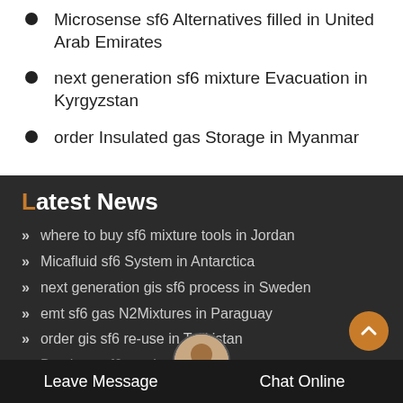Microsense sf6 Alternatives filled in United Arab Emirates
next generation sf6 mixture Evacuation in Kyrgyzstan
order Insulated gas Storage in Myanmar
Latest News
where to buy sf6 mixture tools in Jordan
Micafluid sf6 System in Antarctica
next generation gis sf6 process in Sweden
emt sf6 gas N2Mixtures in Paraguay
order gis sf6 re-use in Tajikistan
Brochure sf6 gas base in Bolivia
order Insulated gas valves in Asia
Leave Message
Chat Online